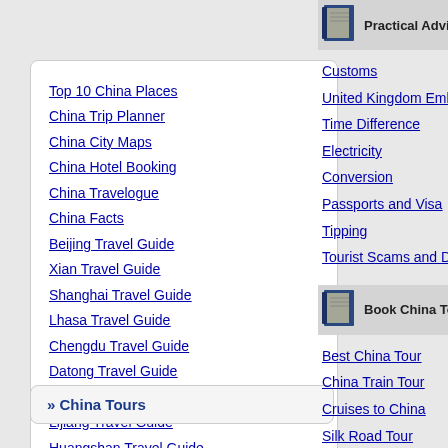Top 10 China Places
China Trip Planner
China City Maps
China Hotel Booking
China Travelogue
China Facts
Beijing Travel Guide
Xian Travel Guide
Shanghai Travel Guide
Lhasa Travel Guide
Chengdu Travel Guide
Datong Travel Guide
Harbin Travel Guide
Lijiang Travel Guide
Huangshan Travel Guide
Zhangjiajie Travel Guide
Practical Advice
Customs
United Kingdom Embassy & C
Time Difference
Electricity
Conversion
Passports and Visa
Tipping
Tourist Scams and Dangers
Book China Tours
Best China Tour
China Train Tour
Cruises to China
Silk Road Tour
» China Tours